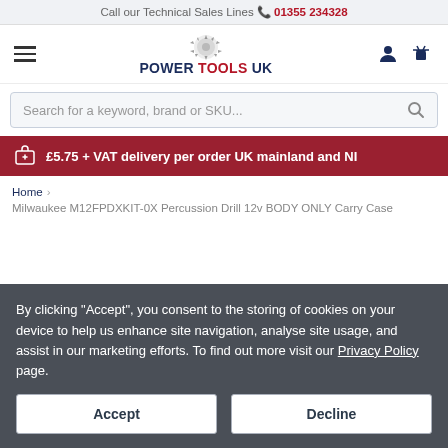Call our Technical Sales Lines 01355 234328
[Figure (logo): Power Tools UK logo with saw blade icon, hamburger menu, user icon and basket icon]
Search for a keyword, brand or SKU...
£5.75 + VAT delivery per order UK mainland and NI
Home > Milwaukee M12FPDXKIT-0X Percussion Drill 12v BODY ONLY Carry Case
By clicking "Accept", you consent to the storing of cookies on your device to help us enhance site navigation, analyse site usage, and assist in our marketing efforts. To find out more visit our Privacy Policy page.
Accept
Decline